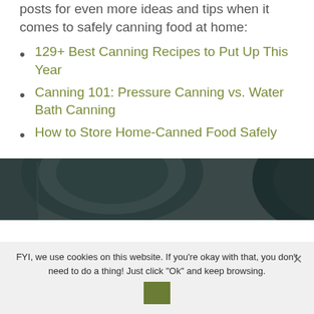posts for even more ideas and tips when it comes to safely canning food at home:
129+ Best Canning Recipes to Put Up This Year
Canning 101: Pressure Canning vs. Water Bath Canning
How to Store Home-Canned Food Safely
[Figure (photo): Close-up photo of dark-colored canning lids/jars]
FYI, we use cookies on this website. If you're okay with that, you don't need to do a thing! Just click "Ok" and keep browsing.